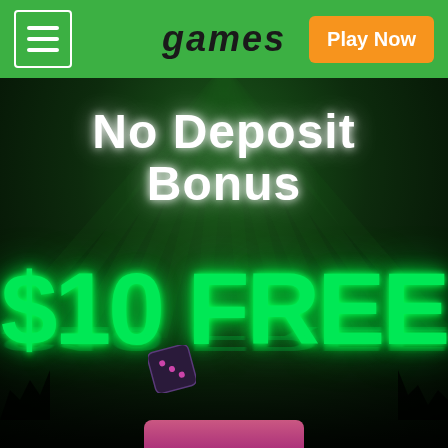games | Play Now
[Figure (infographic): Casino promotional banner with dark green radial background showing 'No Deposit Bonus' in white glowing text and '$10 FREE' in large bright green glowing letters with reflection, small dice and pink button element at bottom]
No Deposit Bonus
$10 FREE